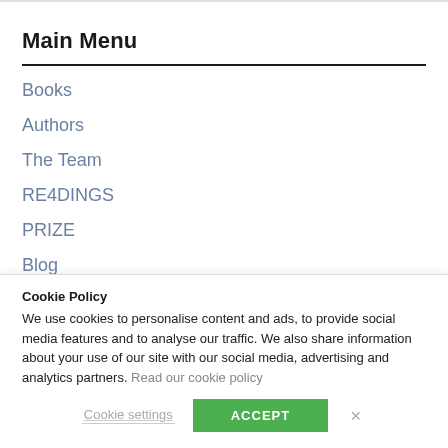Main Menu
Books
Authors
The Team
RE4DINGS
PRIZE
Blog
Cookie Policy
We use cookies to personalise content and ads, to provide social media features and to analyse our traffic. We also share information about your use of our site with our social media, advertising and analytics partners. Read our cookie policy
Cookie settings   ACCEPT   X